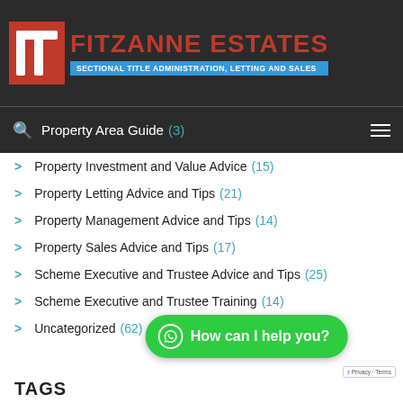FITZANNE ESTATES - SECTIONAL TITLE ADMINISTRATION, LETTING AND SALES
Property Area Guide (3)
Property Investment and Value Advice (15)
Property Letting Advice and Tips (21)
Property Management Advice and Tips (14)
Property Sales Advice and Tips (17)
Scheme Executive and Trustee Advice and Tips (25)
Scheme Executive and Trustee Training (14)
Uncategorized (62)
TAGS